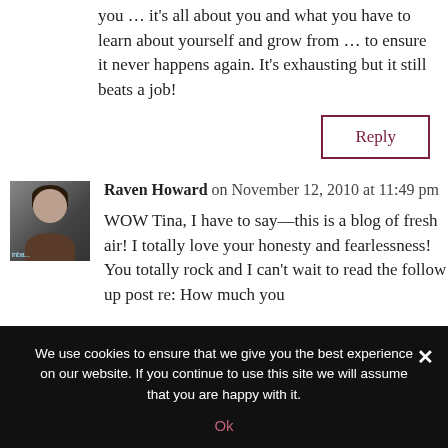you … it's all about you and what you have to learn about yourself and grow from … to ensure it never happens again. It's exhausting but it still beats a job!
Reply
Raven Howard on November 12, 2010 at 11:49 pm
[Figure (photo): Avatar photo of Raven Howard, a person with dark hair]
WOW Tina, I have to say—this is a blog of fresh air! I totally love your honesty and fearlessness! You totally rock and I can't wait to read the follow up post re: How much you
We use cookies to ensure that we give you the best experience on our website. If you continue to use this site we will assume that you are happy with it.
Ok